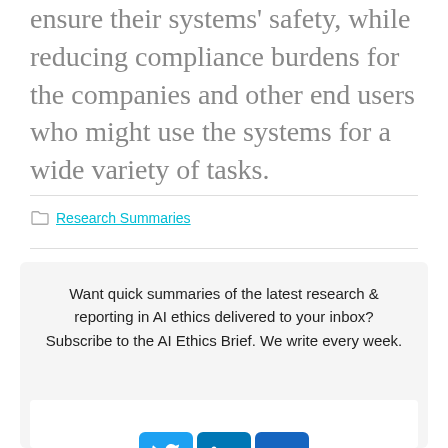ensure their systems' safety, while reducing compliance burdens for the companies and other end users who might use the systems for a wide variety of tasks.
Research Summaries
Want quick summaries of the latest research & reporting in AI ethics delivered to your inbox? Subscribe to the AI Ethics Brief. We write every week.
The AI Ethics Brief